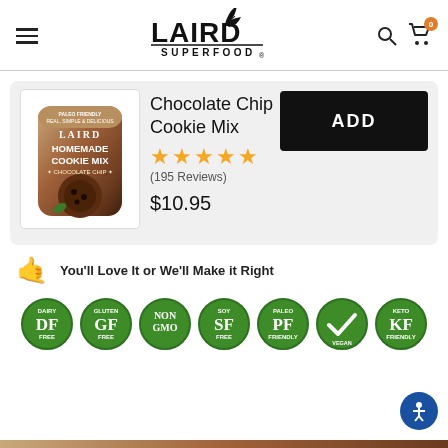LAIRD SUPERFOOD
Chocolate Chip Cookie Mix
(195 Reviews)
$10.95
ADD
You'll Love It or We'll Make it Right
[Figure (logo): Seven circular green certification badges: DF (Dairy Free), GF (Gluten Free), NON GMO, SF (Soy Free), PF (Paleo Friendly), Vegan checkmark, KF (Keto Friendly)]